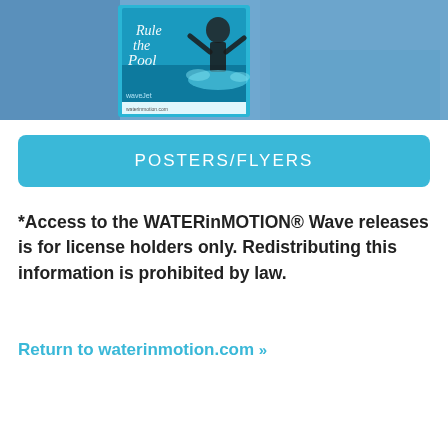[Figure (photo): Photo banner showing a swimmer with arms raised emerging from water, with a 'Rule the Pool' poster card featuring WaveJet branding. Blue/teal background.]
POSTERS/FLYERS
*Access to the WATERinMOTION® Wave releases is for license holders only. Redistributing this information is prohibited by law.
Return to waterinmotion.com »»